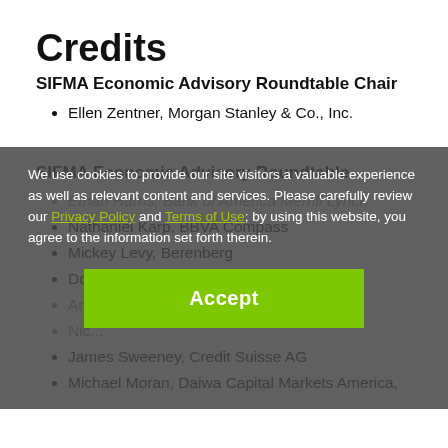Credits
SIFMA Economic Advisory Roundtable Chair
Ellen Zentner, Morgan Stanley & Co., Inc.
SIFMA Economic Advisory Roundtable
Ethan Harris, Bank of America Merrill Lynch
Nathaniel Karp, BBVA Compass
Mickey Levy, Berenberg
Douglas Porter, BMO Financial Group
Andrew...
Nicholas...
James Sweeney, Credit Suisse AG
Michael Moran, Daiwa Capital Markets America,
We use cookies to provide our site visitors a valuable experience as well as relevant content and services. Please carefully review our Privacy Policy and Terms of Use; by using this website, you agree to the information set forth therein.